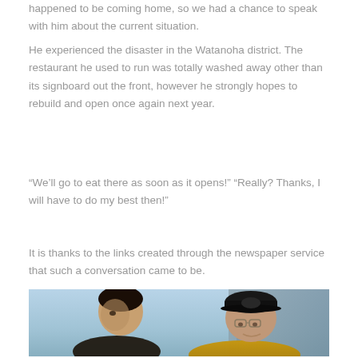happened to be coming home, so we had a chance to speak with him about the current situation.
He experienced the disaster in the Watanoha district. The restaurant he used to run was totally washed away other than its signboard out the front, however he strongly hopes to rebuild and open once again next year.
“We’ll go to eat there as soon as it opens!” “Really? Thanks, I will have to do my best then!”
It is thanks to the links created through the newspaper service that such a conversation came to be.
[Figure (photo): Two men conversing outdoors. The man on the left is younger with short dark hair. The man on the right is older, wearing a dark baseball cap with a logo reading 'TOURSENSE' and glasses, dressed in a yellow/orange jacket.]